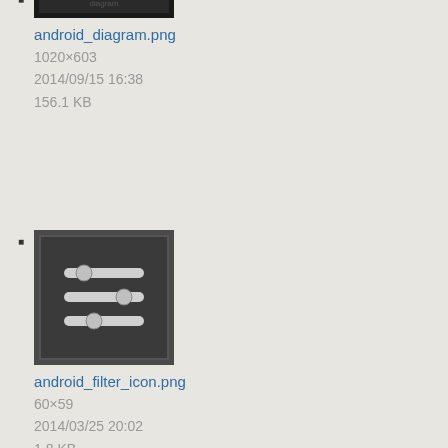android_diagram.png
1020×603
2014/09/15 16:38
156.1 KB
android_filter_icon.png
60×59
2014/03/25 20:02
1.8 KB
android_filtering.png
480×800
2014/04/21 18:54
55.1 KB